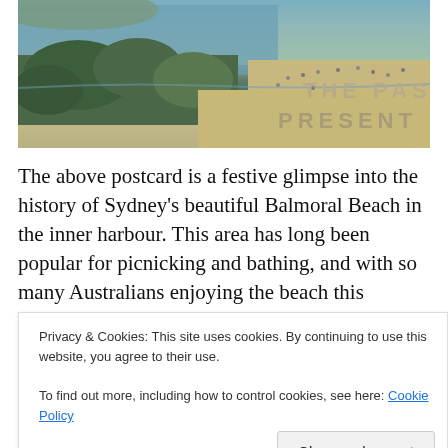[Figure (photo): Vintage sepia/colour postcard of Balmoral Beach, Sydney, showing beach with people, trees in foreground, and waterway. Overlaid text reads 'THE PAST PRESENT'.]
The above postcard is a festive glimpse into the history of Sydney's beautiful Balmoral Beach in the inner harbour. This area has long been popular for picnicking and bathing, and with so many Australians enjoying the beach this Christmas season, it is likely to see many more!
Privacy & Cookies: This site uses cookies. By continuing to use this website, you agree to their use.
To find out more, including how to control cookies, see here: Cookie Policy
Close and accept
Sydney residents and visitors alike could make full and